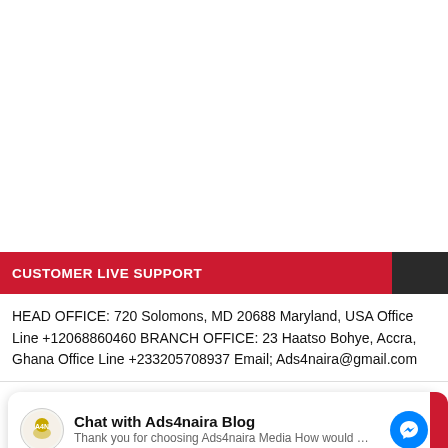CUSTOMER LIVE SUPPORT
HEAD OFFICE: 720 Solomons, MD 20688 Maryland, USA Office Line +12068860460 BRANCH OFFICE: 23 Haatso Bohye, Accra, Ghana Office Line +233205708937 Email; Ads4naira@gmail.com
[Figure (other): Chat widget for Ads4naira Blog with logo, title 'Chat with Ads4naira Blog', subtitle 'Thank you for choosing Ads4naira Media How would …', and a Facebook Messenger icon button on the right.]
Photo of The Day : APC Presidential Candidate Tinubu Spotted Sleeping at a Public Event